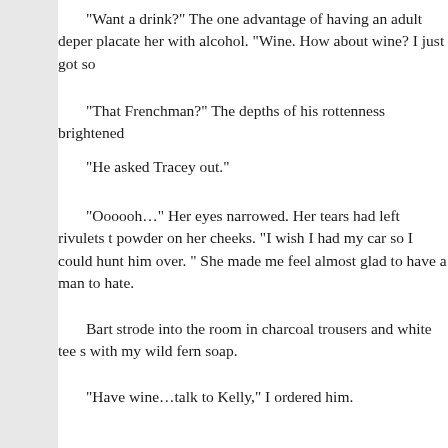“Want a drink?” The one advantage of having an adult depen placate her with alcohol. “Wine. How about wine? I just got so
“That Frenchman?” The depths of his rottenness brightened
“He asked Tracey out.”
“Oooooh…” Her eyes narrowed. Her tears had left rivulets t powder on her cheeks. “I wish I had my car so I could hunt him over. ” She made me feel almost glad to have a man to hate.
Bart strode into the room in charcoal trousers and white tee s with my wild fern soap.
“Have wine…talk to Kelly,” I ordered him.
“Did she tell you about that rotten womanizing man?”  Kelly “He asked a friend of hers out.”
“Mon dieu!”
On the cool side of the apartment, a calming symphony play dressed, at last, in black pants and a black silk blouse. I dabbed